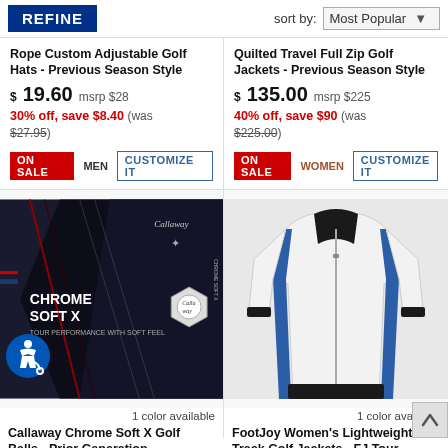REFINE
sort by: Most Popular
Rope Custom Adjustable Golf Hats - Previous Season Style
$ 19.60  msrp $28
30% off, save $8.40  (was $27.95)
ON SALE  MEN  CUSTOMIZE IT
Quilted Travel Full Zip Golf Jackets - Previous Season Style
$ 135.00  msrp $225
40% off, save $90  (was $225.00)
ON SALE  WOMEN  CUSTOMIZE IT
[Figure (photo): Callaway Chrome Soft X Golf Balls box - black package with chrome/silver design]
1 color available
Callaway Chrome Soft X Golf Balls - Prior Generation
[Figure (photo): FootJoy Women's Lightweight Track Golf Jacket - white with black trim and blue side stripe]
1 color available
FootJoy Women's Lightweight Track Golf Jackets - FJ Tour Logo Available - Previous